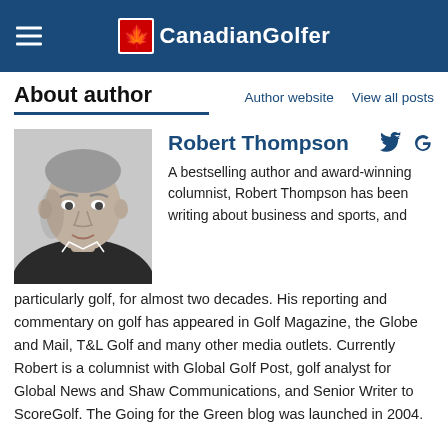CanadianGolfer
About author
Author website   View all posts
[Figure (photo): Black and white headshot photo of Robert Thompson, a middle-aged man in a dark jacket]
Robert Thompson
A bestselling author and award-winning columnist, Robert Thompson has been writing about business and sports, and particularly golf, for almost two decades. His reporting and commentary on golf has appeared in Golf Magazine, the Globe and Mail, T&L Golf and many other media outlets. Currently Robert is a columnist with Global Golf Post, golf analyst for Global News and Shaw Communications, and Senior Writer to ScoreGolf. The Going for the Green blog was launched in 2004.